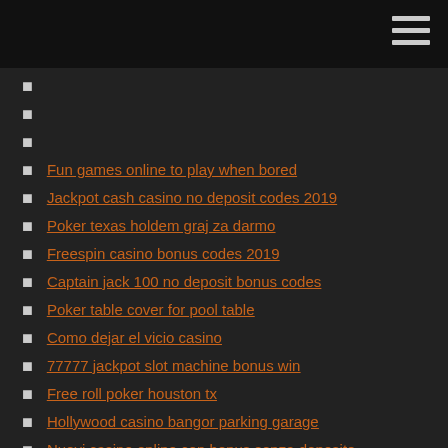Fun games online to play when bored
Jackpot cash casino no deposit codes 2019
Poker texas holdem graj za darmo
Freespin casino bonus codes 2019
Captain jack 100 no deposit bonus codes
Poker table cover for pool table
Como dejar el vicio casino
77777 jackpot slot machine bonus win
Free roll poker houston tx
Hollywood casino bangor parking garage
Nuovi casino online con bonus senza deposito